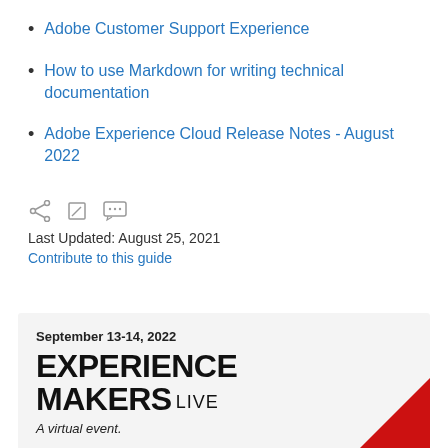Adobe Customer Support Experience
How to use Markdown for writing technical documentation
Adobe Experience Cloud Release Notes - August 2022
[Figure (infographic): Three grey icons: share icon, edit/pencil icon, and speech bubble/comment icon]
Last Updated: August 25, 2021
Contribute to this guide
[Figure (infographic): Promotional banner for Experience Makers Live, a virtual event, September 13-14, 2022, with red corner decoration]